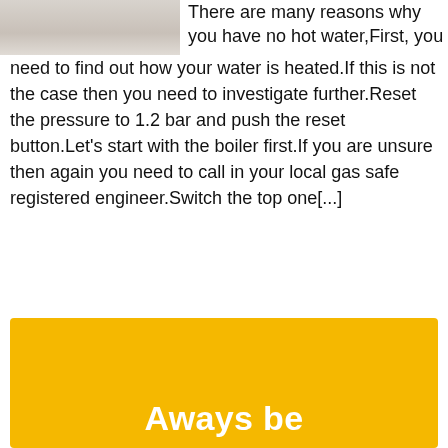[Figure (photo): Partial photo of what appears to be a bathroom or kitchen fixture, light/white tones, cropped at top]
There are many reasons why you have no hot water,First, you need to find out how your water is heated.If this is not the case then you need to investigate further.Reset the pressure to 1.2 bar and push the reset button.Let's start with the boiler first.If you are unsure then again you need to call in your local gas safe registered engineer.Switch the top one[...]
Read more
[Figure (other): Yellow/golden banner block with white bold text reading 'Aways be']